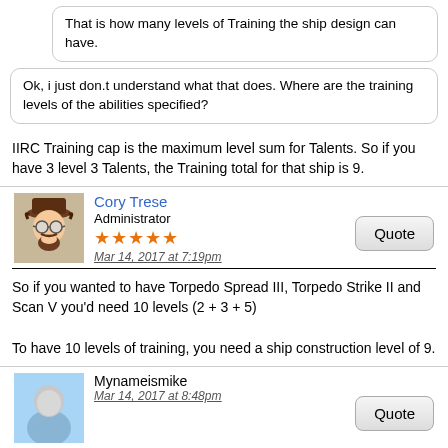That is how many levels of Training the ship design can have.
Ok, i just don.t understand what that does. Where are the training levels of the abilities specified?
IIRC Training cap is the maximum level sum for Talents. So if you have 3 level 3 Talents, the Training total for that ship is 9.
Cory Trese
Administrator
★★★★★
Mar 14, 2017 at 7:19pm
So if you wanted to have Torpedo Spread III, Torpedo Strike II and Scan V you'd need 10 levels (2 + 3 + 5)

To have 10 levels of training, you need a ship construction level of 9.
Mynameismike
Mar 14, 2017 at 8:48pm